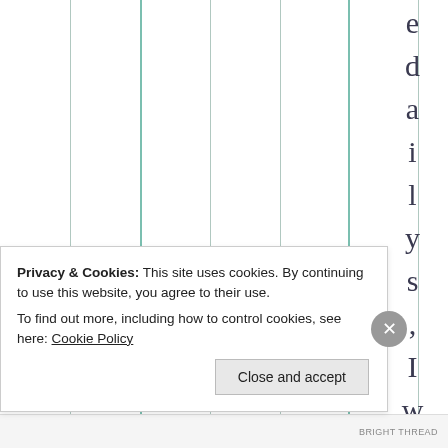|  |  |  |  |  |  |  |
| --- | --- | --- | --- | --- | --- | --- |
e d a i l y s , I w a
Privacy & Cookies: This site uses cookies. By continuing to use this website, you agree to their use.
To find out more, including how to control cookies, see here: Cookie Policy
Close and accept
BRIGHT THREAD